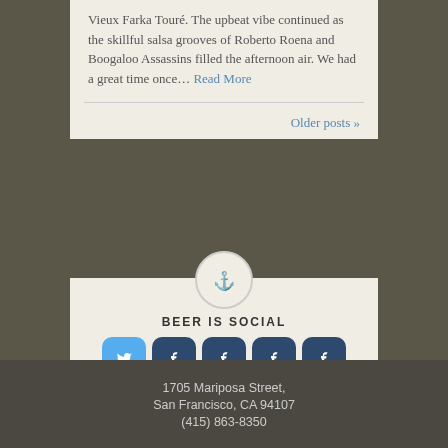Vieux Farka Touré. The upbeat vibe continued as the skillful salsa grooves of Roberto Roena and Boogaloo Assassins filled the afternoon air. We had a great time once… Read More
Older posts »
BEER IS SOCIAL
[Figure (infographic): Social media icons row: Twitter (light blue), and four Facebook (dark blue) icon buttons]
[Figure (infographic): Three action icons: map pin (Map Us), envelope (Email Sign Up), share arrow (Share)]
Home | Videos | Tours | Our Craft | Our History | Blog | Events | FAQs | View Full Site
1705 Mariposa Street, San Francisco, CA 94107 (415) 863-8350